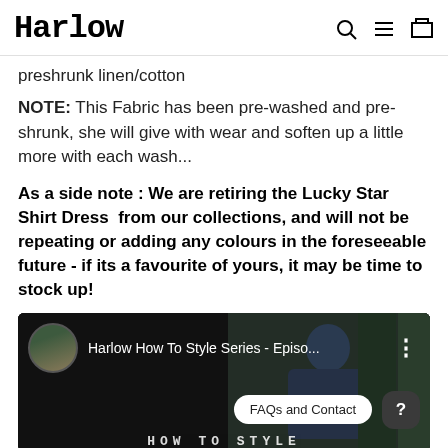Harlow
preshrunk linen/cotton
NOTE: This Fabric has been pre-washed and pre-shrunk, she will give with wear and soften up a little more with each wash...
As a side note : We are retiring the Lucky Star Shirt Dress  from our collections, and will not be repeating or adding any colours in the foreseeable future - if its a favourite of yours, it may be time to stock up!
[Figure (screenshot): YouTube video thumbnail showing 'Harlow How To Style Series - Episo...' with a person in dark clothing, FAQs and Contact button, and a question mark button. Bottom text reads HOW TO STYLE.]